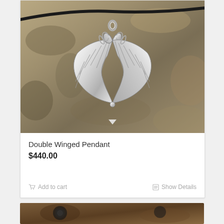[Figure (photo): Product photo of a silver double winged pendant necklace on a stone/slate background. The pendant features two ornate angel wings facing inward forming a heart shape, with decorative scroll work at the top, hanging from a black leather cord.]
Double Winged Pendant
$440.00
Add to cart
Show Details
[Figure (photo): Partial view of a second jewelry product photo at the bottom of the page, showing what appears to be another silver jewelry piece on a brown/wooden background.]